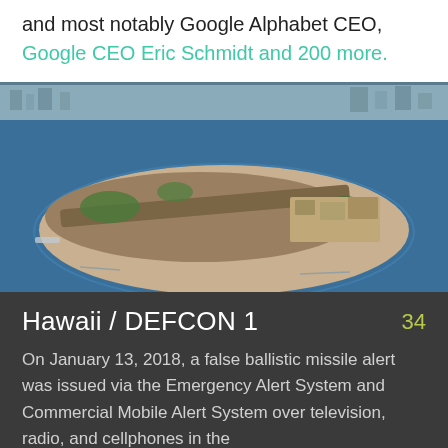and most notably Google Alphabet CEO, Google CEO Eric Schmidt and 200 more.
[Figure (photo): Aerial photograph of an island (likely Treasure Island or similar) surrounded by blue water, with urban development visible in the background]
Hawaii / DEFCON 1   34
On January 13, 2018, a false ballistic missile alert was issued via the Emergency Alert System and Commercial Mobile Alert System over television, radio, and cellphones in the